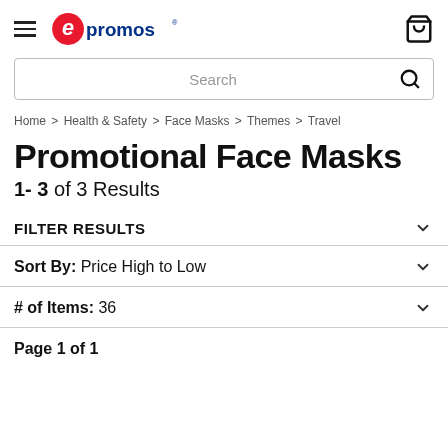epromos logo, hamburger menu, cart icon
Search
Home > Health & Safety > Face Masks > Themes > Travel
Promotional Face Masks
1- 3 of 3 Results
FILTER RESULTS
Sort By: Price High to Low
# of Items: 36
Page 1 of 1